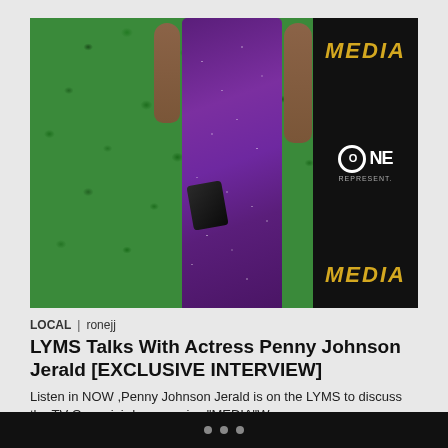[Figure (photo): Woman in a purple sparkly gown holding a black clutch purse, standing in front of a green hedge/backdrop wall. To the right is a black banner with 'MEDIA' in gold letters at top and bottom, and TV One logo in the middle.]
LOCAL | ronejj
LYMS Talks With Actress Penny Johnson Jerald [EXCLUSIVE INTERVIEW]
Listen in NOW ,Penny Johnson Jerald is on the LYMS to discuss the TV One mini-drama series "MEDIA"...